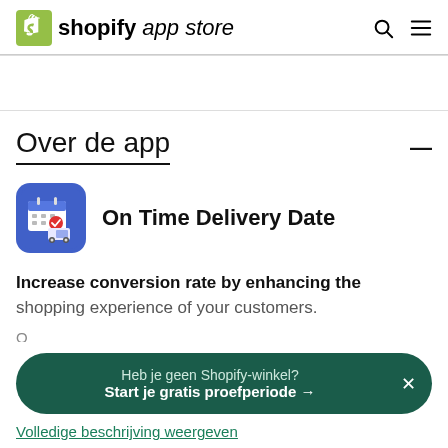shopify app store
Over de app
[Figure (logo): On Time Delivery Date app icon: blue rounded square with calendar and delivery truck illustration]
On Time Delivery Date
Increase conversion rate by enhancing the shopping experience of your customers.
Heb je geen Shopify-winkel? Start je gratis proefperiode →
Volledige beschrijving weergeven